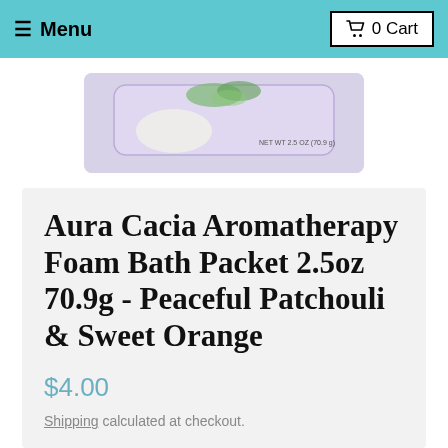☰ Menu   🛒 0 Cart
[Figure (photo): Product photo of Aura Cacia Aromatherapy Foam Bath Packet, shown in a pale purple rectangular wrapper with floral design and net weight label]
Aura Cacia Aromatherapy Foam Bath Packet 2.5oz 70.9g - Peaceful Patchouli & Sweet Orange
$4.00
Shipping calculated at checkout.